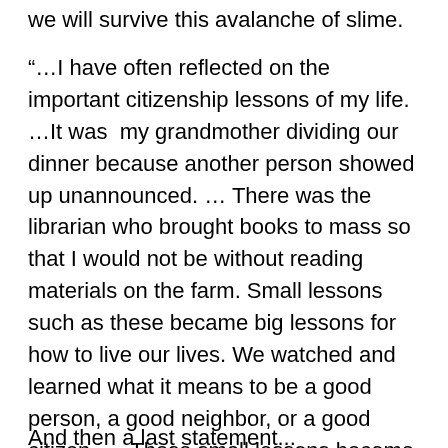we will survive this avalanche of slime.
“…I have often reflected on the important citizenship lessons of my life. …It was  my grandmother dividing our dinner because another person showed up unannounced. … There was the librarian who brought books to mass so that I would not be without reading materials on the farm. Small lessons such as these became big lessons for how to live our lives. We watched and learned what it means to be a good person, a good neighbor, or a good citizen. … These small lessons become the unplanned syllabus for becoming a good citizen, and your efforts to live them will help to form the fabric of a civil society and a free and prosperous nation where inherent equality and liberty are inviolable.” (Commencement Address, Hillsdale College, May 14, 2016)
And then a last statement...